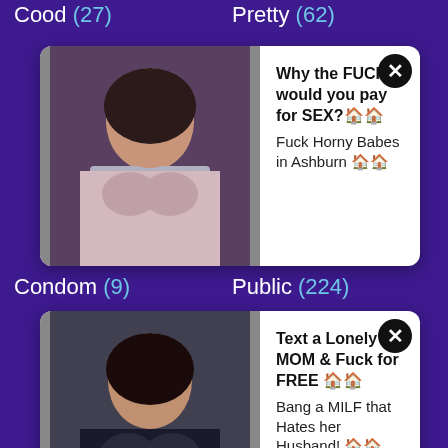Cood (27)
Pretty (62)
[Figure (infographic): Advertisement popup with woman photo. Text: Why the FUCK would you pay for SEX? Fuck Horny Babes in Ashburn. Close button (X).]
Condom (9)
Public (224)
[Figure (infographic): Advertisement popup with woman photo. Text: Text a Lonely MOM & Fuck for FREE. Bang a MILF that Hates her Husband! Close button (X).]
Cotton (21)
Pussy (1287)
Cougar (195)
Reality (133)
Country (2)
Red (638)
Couple (135)
Redhead (244)
Cousin (13)
Retro (89)
Cowgirl (280)
Revenge (11)
Crazy (136)
Rich (16)
Creampie (521)
Riding (67)
Crossdress (2)
Role (25)